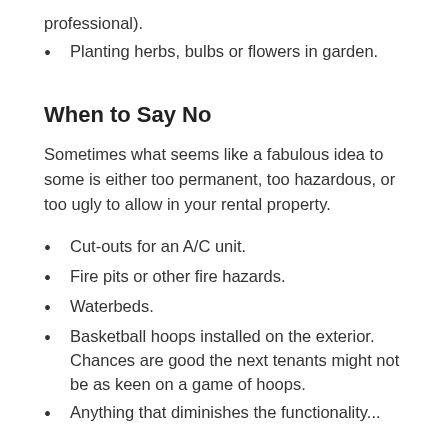professional).
Planting herbs, bulbs or flowers in garden.
When to Say No
Sometimes what seems like a fabulous idea to some is either too permanent, too hazardous, or too ugly to allow in your rental property.
Cut-outs for an A/C unit.
Fire pits or other fire hazards.
Waterbeds.
Basketball hoops installed on the exterior. Chances are good the next tenants might not be as keen on a game of hoops.
Anything that diminishes the functionality...